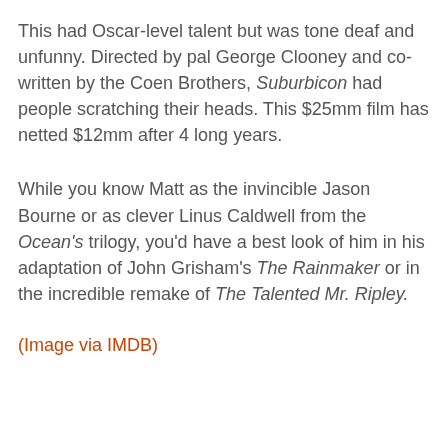This had Oscar-level talent but was tone deaf and unfunny. Directed by pal George Clooney and co-written by the Coen Brothers, Suburbicon had people scratching their heads. This $25mm film has netted $12mm after 4 long years.
While you know Matt as the invincible Jason Bourne or as clever Linus Caldwell from the Ocean's trilogy, you'd have a best look of him in his adaptation of John Grisham's The Rainmaker or in the incredible remake of The Talented Mr. Ripley.
(Image via IMDB)